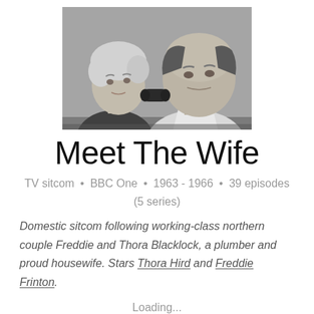[Figure (photo): Black and white photo of two people close together, a woman on the left with curly hair looking up/sideways, and a man on the right listening on a telephone handset]
Meet The Wife
TV sitcom • BBC One • 1963 - 1966 • 39 episodes (5 series)
Domestic sitcom following working-class northern couple Freddie and Thora Blacklock, a plumber and proud housewife. Stars Thora Hird and Freddie Frinton.
Loading...